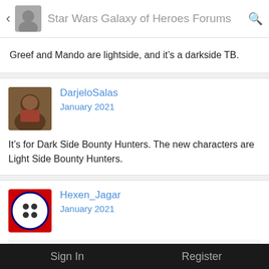Star Wars Galaxy of Heroes Forums
Greef and Mando are lightside, and it's a darkside TB.
DarjeloSalas
January 2021
It's for Dark Side Bounty Hunters. The new characters are Light Side Bounty Hunters.
Hexen_Jagar
January 2021
Anax33 wrote: »
I just wonder why we can't use new bounty hunters on the battles of hoth reserved for the category. They have the tag but greef or the mandalorian by example
Sign In    Register